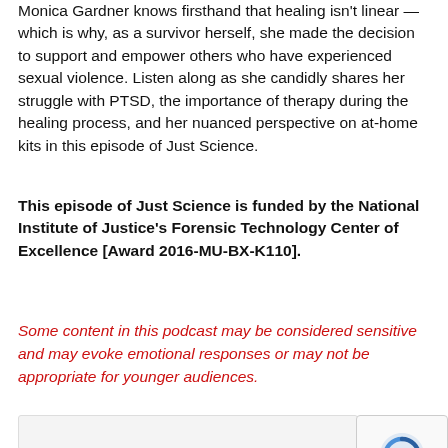Monica Gardner knows firsthand that healing isn't linear — which is why, as a survivor herself, she made the decision to support and empower others who have experienced sexual violence. Listen along as she candidly shares her struggle with PTSD, the importance of therapy during the healing process, and her nuanced perspective on at-home kits in this episode of Just Science.
This episode of Just Science is funded by the National Institute of Justice's Forensic Technology Center of Excellence [Award 2016-MU-BX-K110].
Some content in this podcast may be considered sensitive and may evoke emotional responses or may not be appropriate for younger audiences.
[Figure (other): Bottom of page showing a partially visible podcast player or image thumbnail with a reCAPTCHA widget overlay in the bottom right corner.]